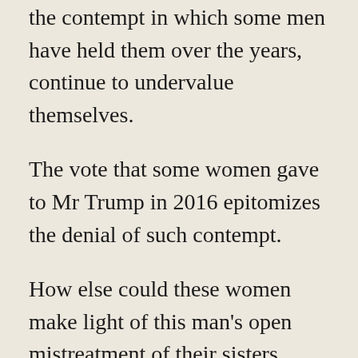the contempt in which some men have held them over the years, continue to undervalue themselves.
The vote that some women gave to Mr Trump in 2016 epitomizes the denial of such contempt.
How else could these women make light of this man's open mistreatment of their sisters, mothers and daughters?
Without a doubt, and in response to wave after wave of feminist movements, men have made strides to counter their propensity to see